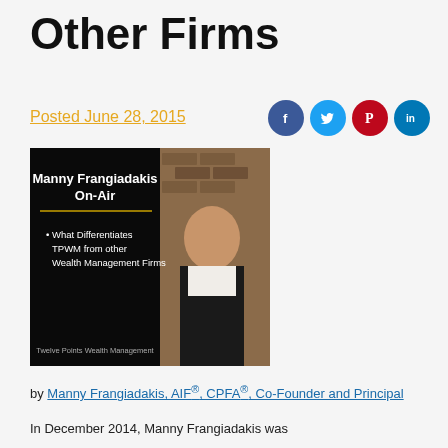Other Firms
Posted June 28, 2015
[Figure (photo): Promotional image for Manny Frangiadakis On-Air segment. Black background with white/gold text reading 'Manny Frangiadakis On-Air' and bullet point 'What Differentiates TPWM from other Wealth Management Firms'. Twelve Points Wealth Management branding at bottom. Photo of a man in a suit on the right side.]
by Manny Frangiadakis, AIF®, CPFA®, Co-Founder and Principal
In December 2014, Manny Frangiadakis was